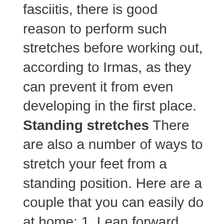fasciitis, there is good reason to perform such stretches before working out, according to Irmas, as they can prevent it from even developing in the first place. Standing stretches There are also a number of ways to stretch your feet from a standing position. Here are a couple that you can easily do at home: 1. Lean forward against the wall, bending one knee and keeping the other straight. You should feel your arch and heel stretching as you lean. Keeping your back leg completely extended, hold this position for 10 seconds before relaxing. Do this stretch 20 times for each leg, then 2. Find a tall...